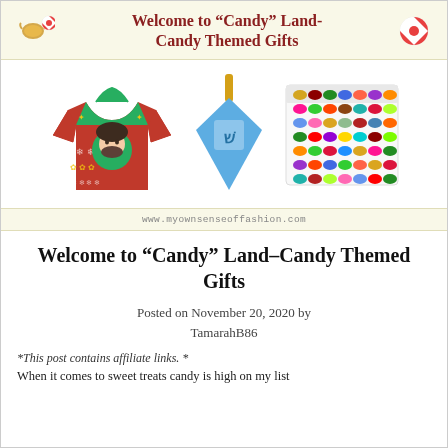Welcome to “Candy” Land-Candy Themed Gifts
[Figure (photo): Banner image with three holiday items: a Bob Ross ugly Christmas sweater, a blue Hanukkah dreidel, and a Jelly Belly jelly bean sampler tray. URL: www.myownsenseoffashion.com]
Welcome to “Candy” Land–Candy Themed Gifts
Posted on November 20, 2020 by TamarahB86
*This post contains affiliate links. *
When it comes to sweet treats candy is high on my list